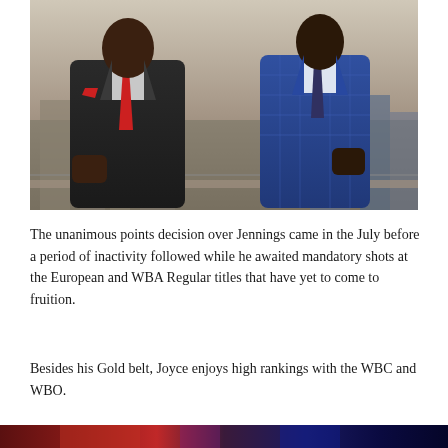[Figure (photo): Two men in suits posing with raised fists on a rooftop with a city skyline behind them. The man on the left wears a dark suit with a red tie, and the man on the right wears a blue checkered suit with a navy tie.]
The unanimous points decision over Jennings came in the July before a period of inactivity followed while he awaited mandatory shots at the European and WBA Regular titles that have yet to come to fruition.
Besides his Gold belt, Joyce enjoys high rankings with the WBC and WBO.
[Figure (photo): Partial view of another photo at the bottom of the page, showing figures with red and purple tones.]